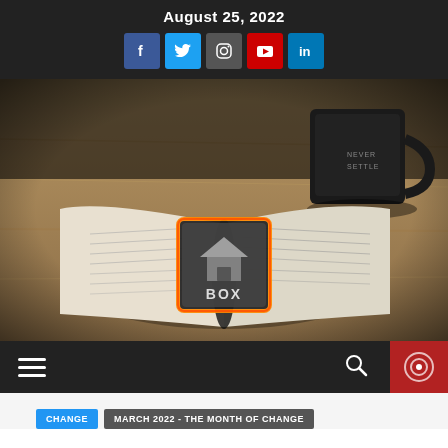August 25, 2022
[Figure (infographic): Social media icons row: Facebook, Twitter, Instagram, YouTube, LinkedIn]
[Figure (photo): Open bible on a wooden table with a black coffee mug in the background, with a 'BOX' home logo watermark overlay in the center]
[Figure (infographic): Navigation bar with hamburger menu icon on the left, search icon in the middle-right, and a red record/YouTube button on the far right]
CHANGE
MARCH 2022 - THE MONTH OF CHANGE